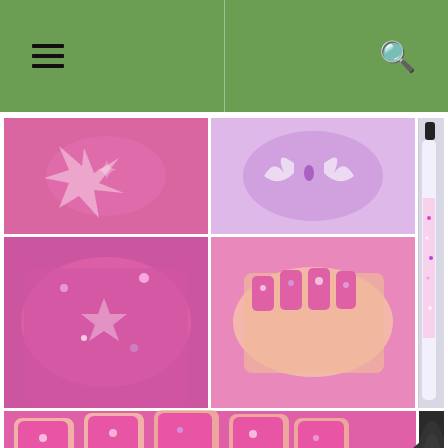Navigation header with hamburger menu and search icon
[Figure (photo): Photo collage of pink glitter nail polish swatches showing holographic butterfly glitter, nail art close-ups, a small nail polish bottle, and a container labeled 'r♥n papillon 5ml']
Papillon is a clear based glitter topper filled with pink and purple holographic glitter and pink holographic butterfly shaped glitter. This was one coat of Papillon over two coats of Cult Nails Bad Devious Nature (a bad batch of Devious Nature, but was too pretty to throw away). Application of Papillon...